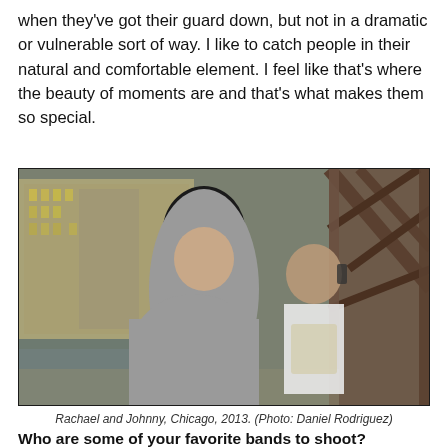when they've got their guard down, but not in a dramatic or vulnerable sort of way. I like to catch people in their natural and comfortable element. I feel like that's where the beauty of moments are and that's what makes them so special.
[Figure (photo): Black and white / muted color photo of a woman with a black bob haircut in a grey hoodie posing near a river, with a man in a white t-shirt talking on a phone in the background. Urban Chicago setting with bridge metal structures visible.]
Rachael and Johnny, Chicago, 2013. (Photo: Daniel Rodriguez)
Who are some of your favorite bands to shoot?